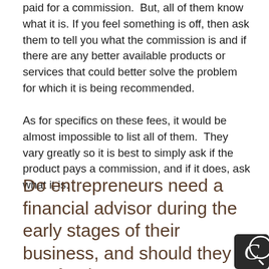paid for a commission.  But, all of them know what it is. If you feel something is off, then ask them to tell you what the commission is and if there are any better available products or services that could better solve the problem for which it is being recommended.
As for specifics on these fees, it would be almost impossible to list all of them.  They vary greatly so it is best to simply ask if the product pays a commission, and if it does, ask what it is.
Do entrepreneurs need a financial advisor during the early stages of their business, and should they pay for them?